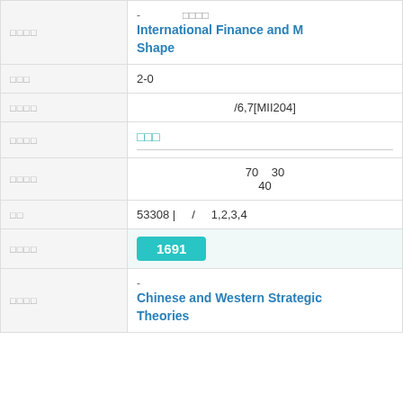| Label | Value |
| --- | --- |
| □□□□ | - □□□□
International Finance and M Shape |
| □□□ | 2-0 |
| □□□□ | /6,7[MII204] |
| □□□□ | □□□ |
| □□□□ | 70  30
40 |
| □□ | 53308 | / 1,2,3,4 |
| □□□□ | 1691 |
| □□□□ | -
Chinese and Western Strategic Theories |